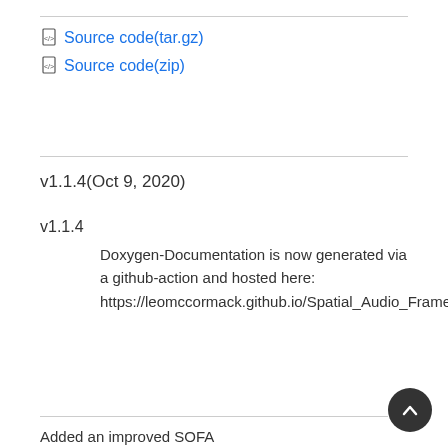Source code(tar.gz)
Source code(zip)
v1.1.4(Oct 9, 2020)
v1.1.4
Doxygen-Documentation is now generated via a github-action and hosted here: https://leomccormack.github.io/Spatial_Audio_Framework/
Added an improved SOFA